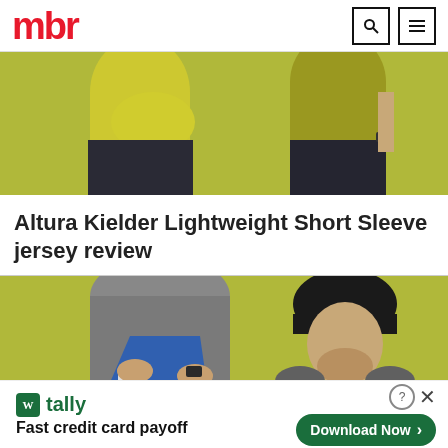mbr
[Figure (photo): Two cyclists shown from waist down wearing yellow/olive cycling jerseys and dark shorts against an olive-green background]
Altura Kielder Lightweight Short Sleeve jersey review
[Figure (photo): Left: person pulling on a blue cycling jersey showing rear pocket; Right: man wearing blue and grey long sleeve jersey with black cycling helmet against olive-green background]
[Figure (other): Tally advertisement banner: 'Fast credit card payoff' with Download Now button]